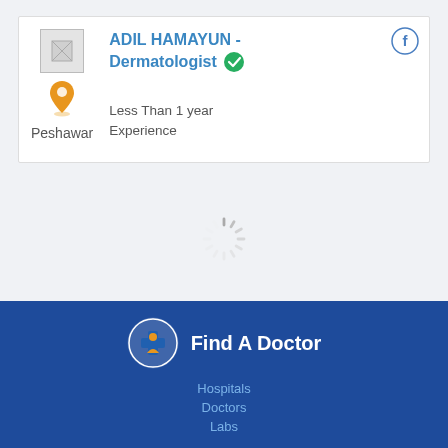ADIL HAMAYUN - Dermatologist
Peshawar
Less Than 1 year Experience
[Figure (other): Loading spinner animation (circular dashed spinner)]
[Figure (logo): Find A Doctor logo with medical icon]
Hospitals
Doctors
Labs